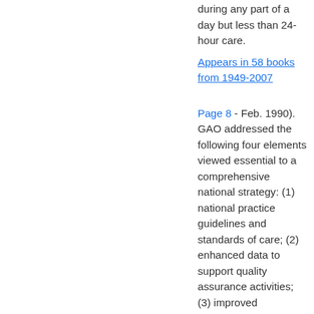during any part of a day but less than 24-hour care.
Appears in 58 books from 1949-2007
Page 8 - Feb. 1990). GAO addressed the following four elements viewed essential to a comprehensive national strategy: (1) national practice guidelines and standards of care; (2) enhanced data to support quality assurance activities; (3) improved approaches to quality assessment and assurance at the local level; and (4) a national focus for developing, implementing, and